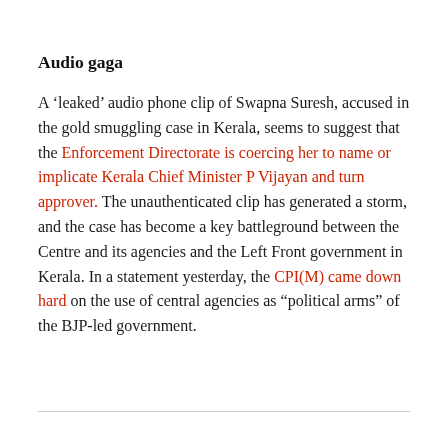Audio gaga
A ‘leaked’ audio phone clip of Swapna Suresh, accused in the gold smuggling case in Kerala, seems to suggest that the Enforcement Directorate is coercing her to name or implicate Kerala Chief Minister P Vijayan and turn approver. The unauthenticated clip has generated a storm, and the case has become a key battleground between the Centre and its agencies and the Left Front government in Kerala. In a statement yesterday, the CPI(M) came down hard on the use of central agencies as “political arms” of the BJP-led government.